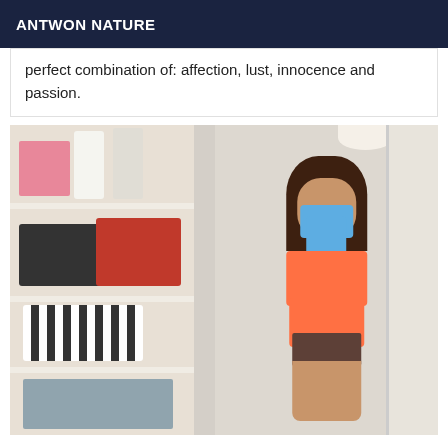ANTWON NATURE
perfect combination of: affection, lust, innocence and passion.
[Figure (photo): A person taking a mirror selfie in a room with open shelving/wardrobe, wearing a bikini top and bottom, holding a phone, face partially covered with a mask.]